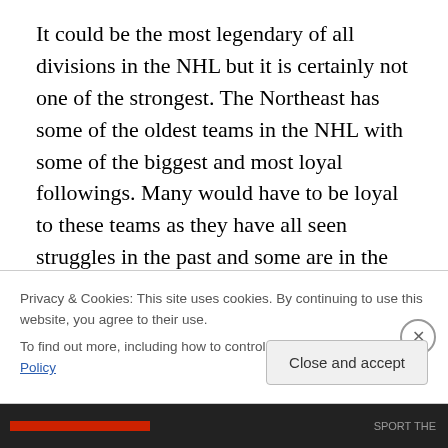It could be the most legendary of all divisions in the NHL but it is certainly not one of the strongest. The Northeast has some of the oldest teams in the NHL with some of the biggest and most loyal followings. Many would have to be loyal to these teams as they have all seen struggles in the past and some are in the midst of very bad streaks. The worst of them all might be the most valuable team in the NHL as the Toronto Maple Leafs are in the midst of a terrible run. The Leafs were just valued at $1 billion by Forbes Magazine even as they are in the middle of a 7 year playoff drought and a 45 year Stanley Cup drought.
Privacy & Cookies: This site uses cookies. By continuing to use this website, you agree to their use.
To find out more, including how to control cookies, see here: Cookie Policy